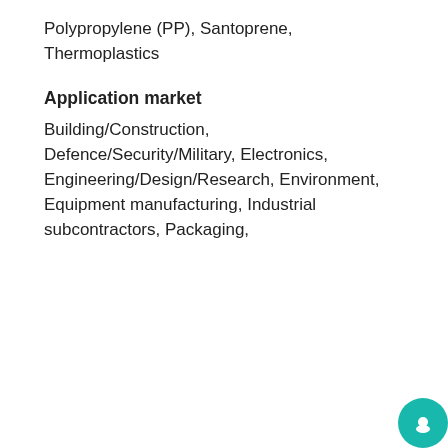Polypropylene (PP), Santoprene, Thermoplastics
Application market
Building/Construction, Defence/Security/Military, Electronics, Engineering/Design/Research, Environment, Equipment manufacturing, Industrial subcontractors, Packaging,
Subcontracteu.com uses cookies for better site performance. Please read how we store and manage your personal data in connection with the EU GDPR Regulation and by pressing ACCEPT, you accept them  learn more
ACCEPT